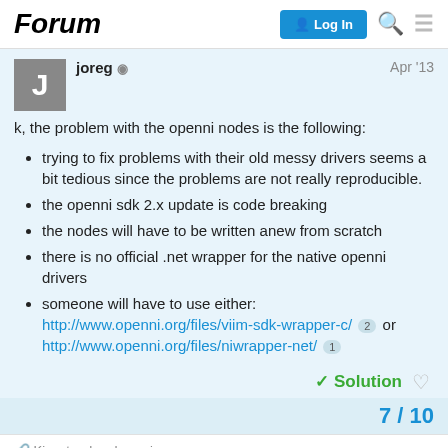Forum — Log In
joreg   Apr '13
k, the problem with the openni nodes is the following:
trying to fix problems with their old messy drivers seems a bit tedious since the problems are not really reproducible.
the openni sdk 2.x update is code breaking
the nodes will have to be written anew from scratch
there is no official .net wrapper for the native openni drivers
someone will have to use either: http://www.openni.org/files/viim-sdk-wrapper-c/ 2 or http://www.openni.org/files/niwrapper-net/ 1
✓ Solution
7 / 10
Kinect rod node again